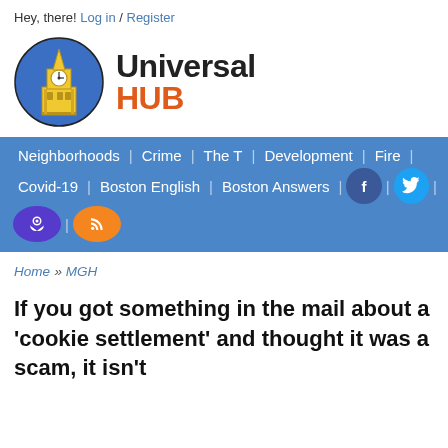Hey, there! Log in / Register
[Figure (logo): Universal Hub logo: yellow clock tower building on blue circle background, with text 'Universal HUB' where HUB is in orange]
Neighborhoods | Crime | The T | Development | Fire | Covid-19 | Boston English | Boston Answers | [Facebook] | [Twitter] | [Mastodon] | [RSS]
Home » MGH
If you got something in the mail about a 'cookie settlement' and thought it was a scam, it isn't